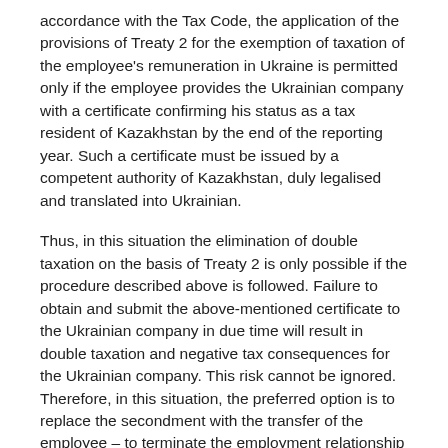accordance with the Tax Code, the application of the provisions of Treaty 2 for the exemption of taxation of the employee's remuneration in Ukraine is permitted only if the employee provides the Ukrainian company with a certificate confirming his status as a tax resident of Kazakhstan by the end of the reporting year. Such a certificate must be issued by a competent authority of Kazakhstan, duly legalised and translated into Ukrainian.
Thus, in this situation the elimination of double taxation on the basis of Treaty 2 is only possible if the procedure described above is followed. Failure to obtain and submit the above-mentioned certificate to the Ukrainian company in due time will result in double taxation and negative tax consequences for the Ukrainian company. This risk cannot be ignored. Therefore, in this situation, the preferred option is to replace the secondment with the transfer of the employee – to terminate the employment relationship with the Ukrainian company and to conclude an employment contract with the company in Kazakhstan.
In order to keep the employee in the social insurance system of Ukraine, it is possible to consider the option of double